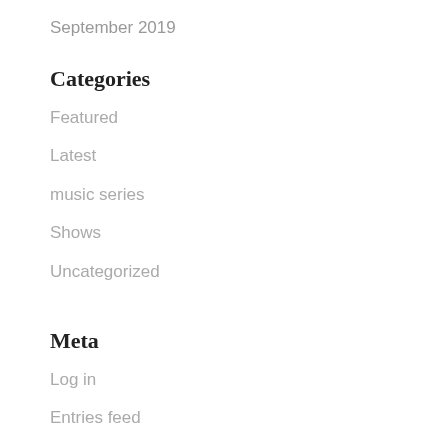September 2019
Categories
Featured
Latest
music series
Shows
Uncategorized
Meta
Log in
Entries feed
Comments feed
WordPress.org